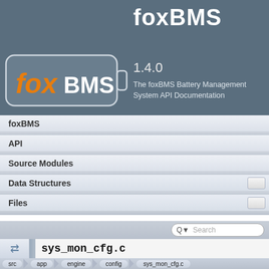foxBMS
1.4.0
The foxBMS Battery Management System API Documentation
[Figure (logo): foxBMS logo: rounded rectangle battery shape with 'fox' in orange italic and 'BMS' in white on dark grey background]
foxBMS
API
Source Modules
Data Structures
Files
Search
sys_mon_cfg.c
src  app  engine  config  sys_mon_cfg.c